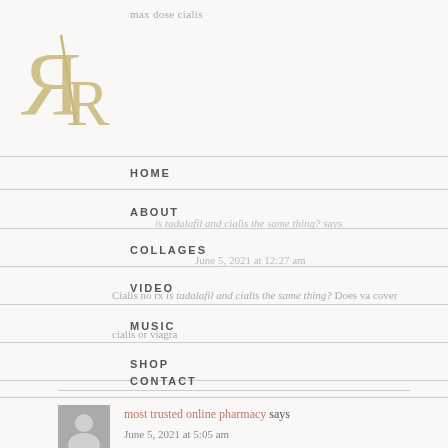max dose cialis
[Figure (logo): Stylized R logo in gold/tan color]
HOME
ABOUT
COLLAGES
VIDEO
MUSIC
SHOP
CONTACT
is tadalafil and cialis the same thing? says
June 5, 2021 at 12:27 am
Cialis no rx is tadalafil and cialis the same thing? Does va cover cialis or viagra
[Figure (photo): Gray avatar placeholder image for comment author]
most trusted online pharmacy says
June 5, 2021 at 5:05 am